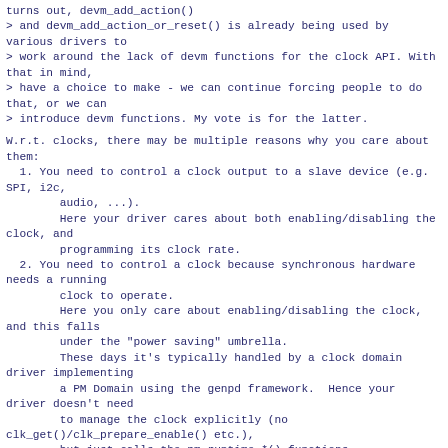turns out, devm_add_action()
> and devm_add_action_or_reset() is already being used by various drivers to
> work around the lack of devm functions for the clock API. With that in mind,
> have a choice to make - we can continue forcing people to do that, or we can
> introduce devm functions. My vote is for the latter.
W.r.t. clocks, there may be multiple reasons why you care about them:
  1. You need to control a clock output to a slave device (e.g. SPI, i2c,
        audio, ...).
        Here your driver cares about both enabling/disabling the clock, and
        programming its clock rate.
  2. You need to control a clock because synchronous hardware needs a running
        clock to operate.
        Here you only care about enabling/disabling the clock, and this falls
        under the "power saving" umbrella.
        These days it's typically handled by a clock domain driver implementing
        a PM Domain using the genpd framework.  Hence your driver doesn't need
        to manage the clock explicitly (no clk_get()/clk_prepare_enable() etc.),
        but just calls the pm_runtime_*() functions.
        Alternatively, it's fine to use the clock